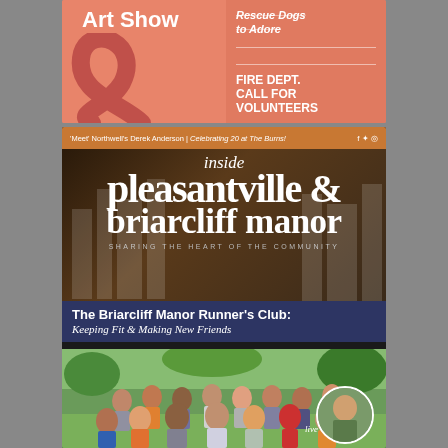[Figure (photo): Top portion of a community magazine cover showing 'Art Show' text on a salmon/coral colored background with a decorative swirl, and right side showing 'Rescue Dogs to Adore' and 'FIRE DEPT. CALL FOR VOLUNTEERS' text]
Art Show
Rescue Dogs to Adore
FIRE DEPT. CALL FOR VOLUNTEERS
[Figure (photo): Main cover of 'inside pleasantville & briarcliff manor' community magazine featuring orange header bar with text ''Meet' Northwell's Derek Anderson | Celebrating 20 at The Burns!', magazine title in large serif font, tagline 'SHARING THE HEART OF THE COMMUNITY', dark blue banner with headline about Briarcliff Manor Runner's Club, and group photo of runners in a park]
'Meet' Northwell's Derek Anderson | Celebrating 20 at The Burns!
inside pleasantville & briarcliff manor
SHARING THE HEART OF THE COMMUNITY
The Briarcliff Manor Runner's Club: Keeping Fit & Making New Friends